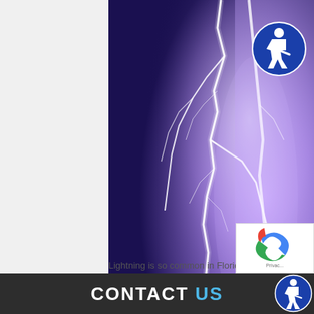[Figure (photo): Lightning strike photograph with purple/blue stormy sky background, showing bright white forked lightning bolt]
[Figure (logo): Blue circular accessibility icon (wheelchair user symbol) in top right corner]
26 MAY FLORIDA LIGHTNING
Posted at 13:37h in General, Lightning
1 Like · Share
Lightning is so common in Florida, that
CONTACT US